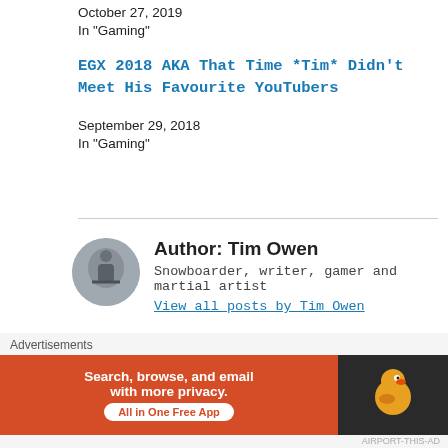October 27, 2019
In "Gaming"
EGX 2018 AKA That Time *Tim* Didn't Meet His Favourite YouTubers
September 29, 2018
In "Gaming"
Author: Tim Owen
Snowboarder, writer, gamer and martial artist
View all posts by Tim Owen
Tim Owen / February 10, 2020 / Gaming /
[Figure (other): DuckDuckGo advertisement banner: orange left panel with text 'Search, browse, and email with more privacy. All in One Free App' and dark right panel with DuckDuckGo duck logo]